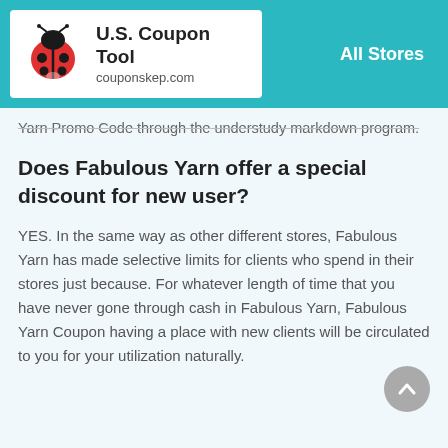U.S. Coupon Tool
couponskep.com
All Stores
Yarn Promo Code through the understudy markdown program.
Does Fabulous Yarn offer a special discount for new user?
YES. In the same way as other different stores, Fabulous Yarn has made selective limits for clients who spend in their stores just because. For whatever length of time that you have never gone through cash in Fabulous Yarn, Fabulous Yarn Coupon having a place with new clients will be circulated to you for your utilization naturally.